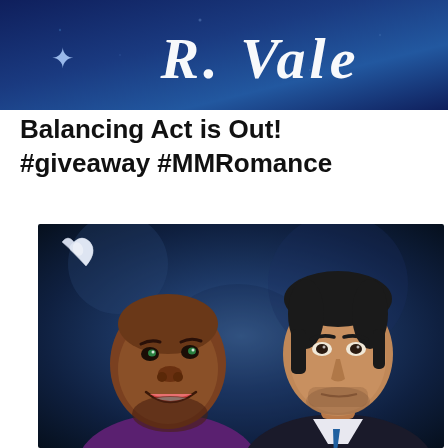[Figure (illustration): Book banner with dark blue gradient background showing author name 'R. Vale' in large italic white serif font with a decorative star symbol on the left]
Balancing Act is Out! #giveaway #MMRomance
[Figure (photo): Book cover image showing two men against a dark blue textured background. On the left, a smiling Black man in a purple shirt. On the right, a serious-looking white man with stubble in a dark suit with a blue tie. A silver/white water droplet logo is in the upper left corner of the cover.]